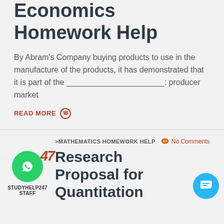Economics Homework Help
By Abram's Company buying products to use in the manufacture of the products, it has demonstrated that it is part of the ______________________: producer market
READ MORE ⊕
>MATHEMATICS HOMEWORK HELP
No Comments
Research Proposal for Quantitation